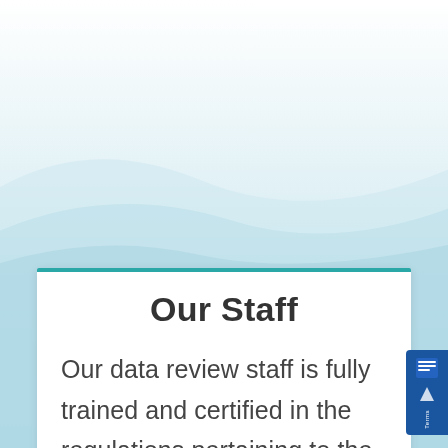[Figure (illustration): Decorative wave background with light blue gradient and soft wave shapes at the top portion of the page]
Our Staff
Our data review staff is fully trained and certified in the regulations pertaining to the Fair Credit Reporting Act (FCRA) and